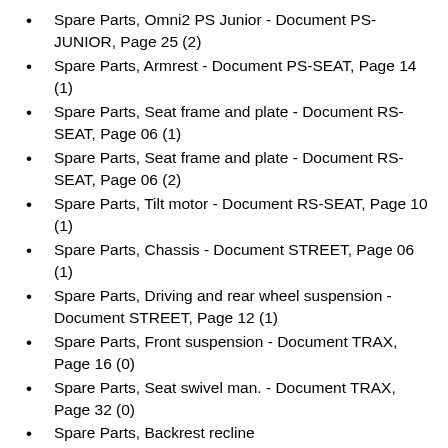Spare Parts, Omni2 PS Junior - Document PS-JUNIOR, Page 25 (2)
Spare Parts, Armrest - Document PS-SEAT, Page 14 (1)
Spare Parts, Seat frame and plate - Document RS-SEAT, Page 06 (1)
Spare Parts, Seat frame and plate - Document RS-SEAT, Page 06 (2)
Spare Parts, Tilt motor - Document RS-SEAT, Page 10 (1)
Spare Parts, Chassis - Document STREET, Page 06 (1)
Spare Parts, Driving and rear wheel suspension - Document STREET, Page 12 (1)
Spare Parts, Front suspension - Document TRAX, Page 16 (0)
Spare Parts, Seat swivel man. - Document TRAX, Page 32 (0)
Spare Parts, Backrest recline